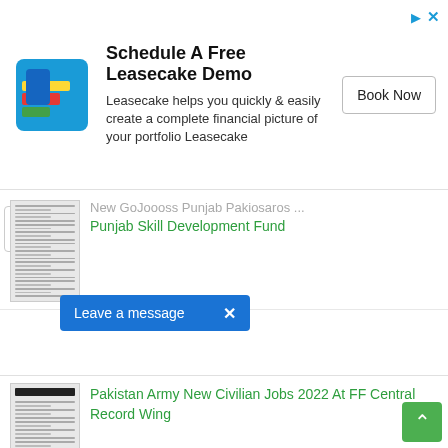[Figure (screenshot): Advertisement banner for Leasecake with logo, text, and Book Now button]
Punjab Skill Development Fund
[Figure (screenshot): Thumbnail image of Punjab Skill Development Fund job advertisement document]
Pakistan Army New Civilian Jobs 2022 At FF Central Record Wing
[Figure (screenshot): Thumbnail image of Pakistan Army job advertisement document]
New Govt Jobs Punjab At Ministry of